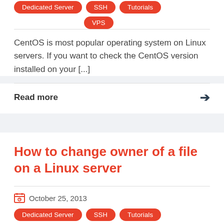Dedicated Server
SSH
Tutorials
VPS
CentOS is most popular operating system on Linux servers. If you want to check the CentOS version installed on your [...]
Read more →
How to change owner of a file on a Linux server
October 25, 2013
Dedicated Server
SSH
Tutorials
VPS
chown command is used to change owner of a file on a